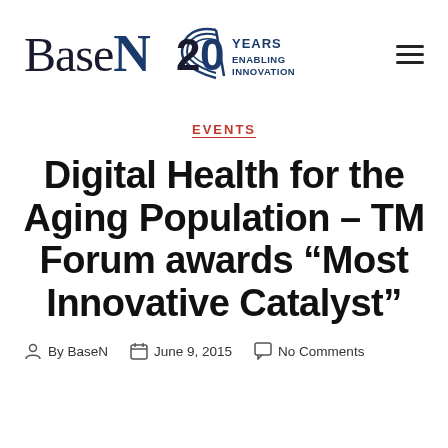[Figure (logo): BaseN logo with '20 Years Enabling Innovation' badge and hamburger menu icon]
EVENTS
Digital Health for the Aging Population – TM Forum awards “Most Innovative Catalyst”
By BaseN   June 9, 2015   No Comments